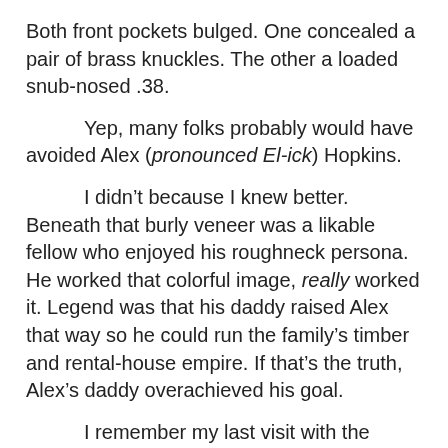Both front pockets bulged. One concealed a pair of brass knuckles. The other a loaded snub-nosed .38.
Yep, many folks probably would have avoided Alex (pronounced El-ick) Hopkins.
I didn't because I knew better. Beneath that burly veneer was a likable fellow who enjoyed his roughneck persona. He worked that colorful image, really worked it. Legend was that his daddy raised Alex that way so he could run the family's timber and rental-house empire. If that's the truth, Alex's daddy overachieved his goal.
I remember my last visit with the Grangerville timber baron before he died in 1987. Sitting at my desk, I could hear Alex—down the hall and through two closed doors—at the front counter, asking for me.